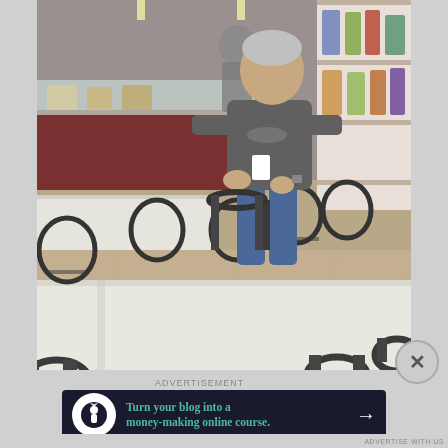[Figure (photo): Interior of a deli or cafe seating area. A man in a gray t-shirt and jeans stands near white rectangular tables with black metal chairs. In the background there is a deli counter and store shelving with packaged goods.]
ADVERTISEMENT
[Figure (infographic): Dark navy advertisement banner with a white circle icon containing a stylized tree/person logo, green text reading 'Turn your blog into a money-making online course.' and a white right arrow.]
ADVERTISE WITH US